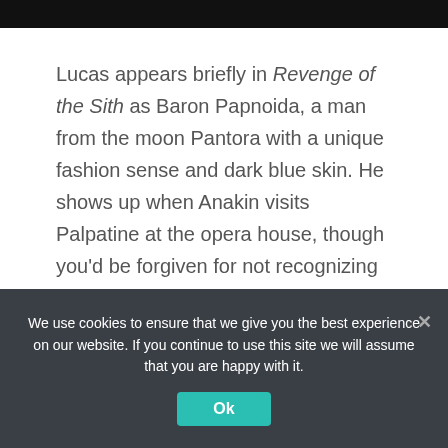[Figure (photo): Black bar image at top of page]
Lucas appears briefly in Revenge of the Sith as Baron Papnoida, a man from the moon Pantora with a unique fashion sense and dark blue skin. He shows up when Anakin visits Palpatine at the opera house, though you'd be forgiven for not recognizing him in the costume.
NEXT: Top 10 Most Memorable Steven Spielberg Cameos
We use cookies to ensure that we give you the best experience on our website. If you continue to use this site we will assume that you are happy with it.